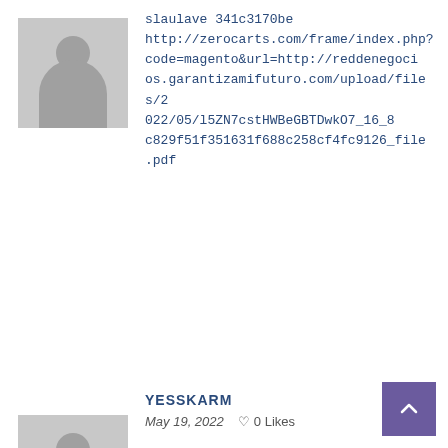[Figure (illustration): Gray placeholder avatar icon (no head visible, just gray square) for slaulave comment]
slaulave 341c3170be http://zerocarts.com/frame/index.php?code=magento&url=http://reddenegocios.garantizamifuturo.com/upload/files/2022/05/l5ZN7cstHWBeGBTDwkO7_16_8c829f51f351631f688c258cf4fc9126_file.pdf
[Figure (illustration): Gray placeholder avatar icon with head and shoulders silhouette for yesskarm comment]
YESSKARM
May 19, 2022   0 Likes
yesskarm 341c3170be http://worldwidesomalistudents.com/?URL=http://www.suaopiniao1.com.br//upload/files/2022/05/kxJRWV6gjlriLX1th9zE_17_e0ca01da92a25a4dd4a84dfebd3d7112_file.pdf
OLYJAVA